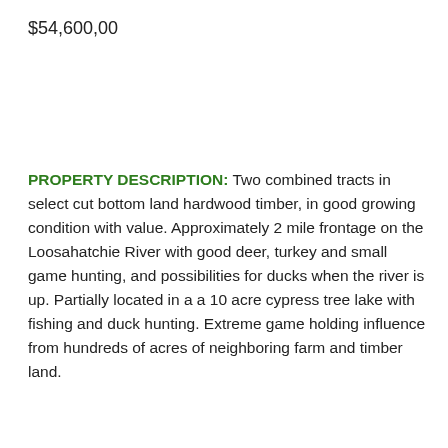$54,600.00
PROPERTY DESCRIPTION: Two combined tracts in select cut bottom land hardwood timber, in good growing condition with value. Approximately 2 mile frontage on the Loosahatchie River with good deer, turkey and small game hunting, and possibilities for ducks when the river is up. Partially located in a a 10 acre cypress tree lake with fishing and duck hunting. Extreme game holding influence from hundreds of acres of neighboring farm and timber land.